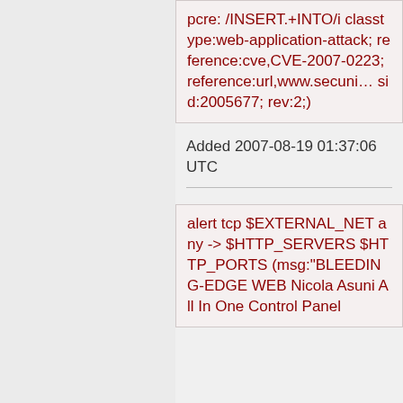pcre: /INSERT.+INTO/i classtype:web-application-attack; reference:cve,CVE-2007-0223; reference:url,www.secunia sid:2005677; rev:2;)
Added 2007-08-19 01:37:06 UTC
alert tcp $EXTERNAL_NET any -> $HTTP_SERVERS $HTTP_PORTS (msg:"BLEEDING-EDGE WEB Nicola Asuni All In One Control Panel